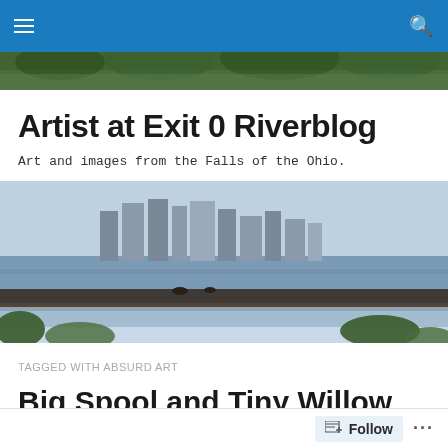Navigation bar with menu and search
[Figure (photo): Tree foliage photo strip at top of page]
Artist at Exit 0 Riverblog
Art and images from the Falls of the Ohio.
[Figure (photo): Cityscape/skyline of Louisville across the Ohio River with a waterfall or dam structure in the foreground, shot on a partly sunny day]
TAGGED WITH ABSURD ART
Big Spool and Tiny Willow Island
Follow  ...